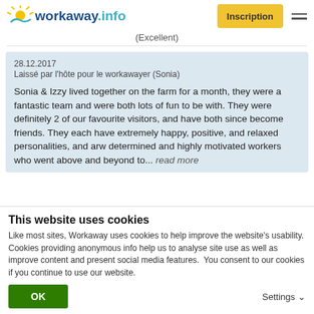workaway.info — Inscription
(Excellent)
28.12.2017
Laissé par l'hôte pour le workawayer (Sonia)

Sonia & Izzy lived together on the farm for a month, they were a fantastic team and were both lots of fun to be with. They were definitely 2 of our favourite visitors, and have both since become friends. They each have extremely happy, positive, and relaxed personalities, and arw determined and highly motivated workers who went above and beyond to... read more
This website uses cookies
Like most sites, Workaway uses cookies to help improve the website's usability. Cookies providing anonymous info help us to analyse site use as well as improve content and present social media features.  You consent to our cookies if you continue to use our website.
OK
Settings